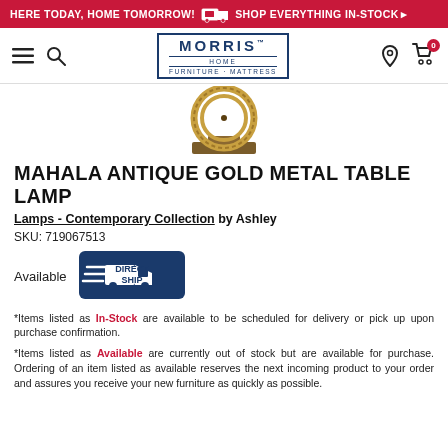HERE TODAY, HOME TOMORROW! SHOP EVERYTHING IN-STOCK
[Figure (logo): Morris Home Furniture Mattress logo with navigation icons (hamburger menu, search, location pin, cart)]
[Figure (photo): Mahala Antique Gold Metal Table Lamp product photo showing circular gold metallic rings on a wooden base]
MAHALA ANTIQUE GOLD METAL TABLE LAMP
Lamps - Contemporary Collection by Ashley
SKU: 719067513
Available
[Figure (illustration): Direct Ship truck logo badge in navy blue]
*Items listed as In-Stock are available to be scheduled for delivery or pick up upon purchase confirmation.
*Items listed as Available are currently out of stock but are available for purchase. Ordering of an item listed as available reserves the next incoming product to your order and assures you receive your new furniture as quickly as possible.